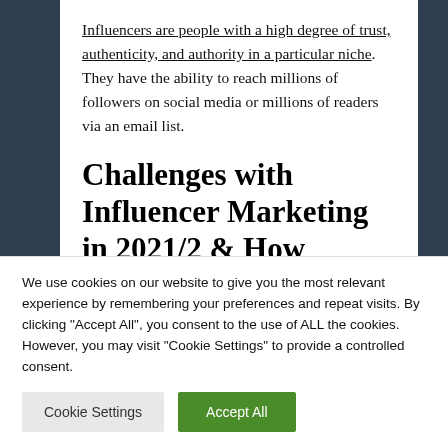Influencers are people with a high degree of trust, authenticity, and authority in a particular niche. They have the ability to reach millions of followers on social media or millions of readers via an email list.
Challenges with Influencer Marketing in 2021/2 & How
We use cookies on our website to give you the most relevant experience by remembering your preferences and repeat visits. By clicking "Accept All", you consent to the use of ALL the cookies. However, you may visit "Cookie Settings" to provide a controlled consent.